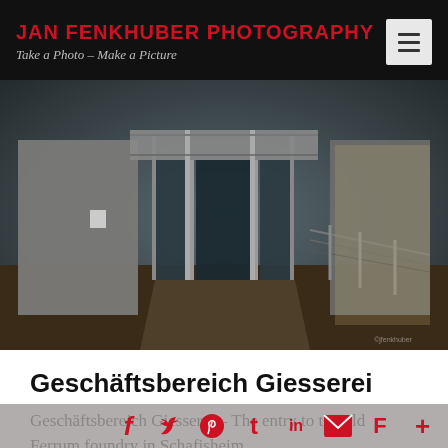JAN FENKHUBER PHOTOGRAPHY – Take a Photo – Make a Picture
[Figure (photo): Entrance to an industrial building (old Ferrum foundry) in Schafisheim, showing glass doors, concrete walls, metal railings and dramatic HDR lighting with strong shadows.]
Geschäftsbereich Giesserei
Geschäftsbereich Giesserei – The entry to the old Ferrum fo[u]ndr[y] in Schafisheim